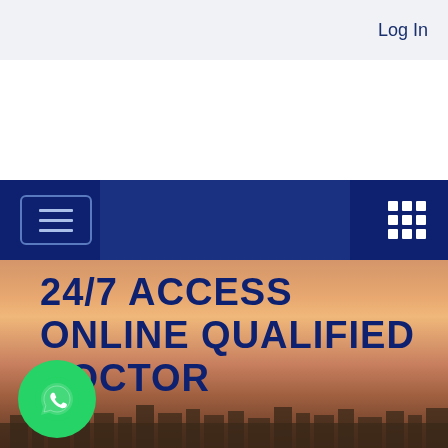Log In
[Figure (screenshot): Navigation bar with hamburger menu icon on left, darker center panel, and 3x3 grid icon on right, on dark navy blue background]
[Figure (photo): Hero background image showing a city skyline at sunset/dusk with warm orange and amber sky tones]
24/7 ACCESS ONLINE QUALIFIED DOCTOR
[Figure (logo): WhatsApp button - green circle with white phone/speech bubble icon]